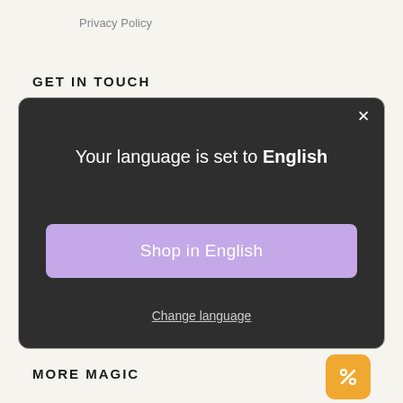Privacy Policy
GET IN TOUCH
[Figure (screenshot): A dark modal dialog box with white text reading 'Your language is set to English', a purple button labeled 'Shop in English', and an underlined 'Change language' link. A white X close button appears in the top-right corner.]
MORE MAGIC